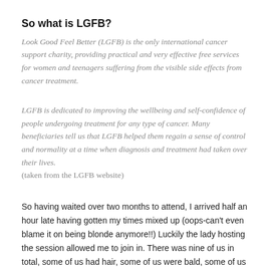So what is LGFB?
Look Good Feel Better (LGFB) is the only international cancer support charity, providing practical and very effective free services for women and teenagers suffering from the visible side effects from cancer treatment.
LGFB is dedicated to improving the wellbeing and self-confidence of people undergoing treatment for any type of cancer. Many beneficiaries tell us that LGFB helped them regain a sense of control and normality at a time when diagnosis and treatment had taken over their lives.
(taken from the LGFB website)
So having waited over two months to attend, I arrived half an hour late having gotten my times mixed up (oops-can't even blame it on being blonde anymore!!) Luckily the lady hosting the session allowed me to join in. There was nine of us in total, some of us had hair, some of us were bald, some of us had scars, some of us had no boobs, some of us had